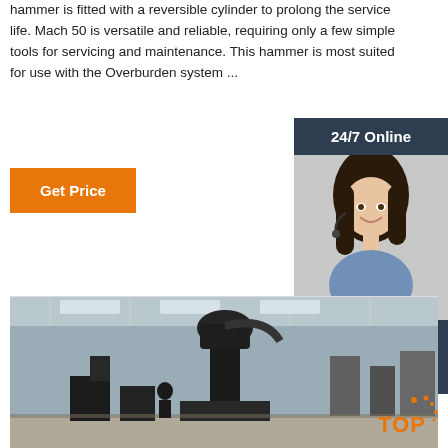hammer is fitted with a reversible cylinder to prolong the service life. Mach 50 is versatile and reliable, requiring only a few simple tools for servicing and maintenance. This hammer is most suited for use with the Overburden system ...
Get Price
[Figure (infographic): 24/7 Online customer support panel with a photo of a woman wearing a headset, and a 'Click here for free chat!' message with a QUOTATION button]
[Figure (photo): Factory floor with large industrial drilling/hammering machinery in a warehouse setting]
[Figure (other): TOP button with orange dots decoration]